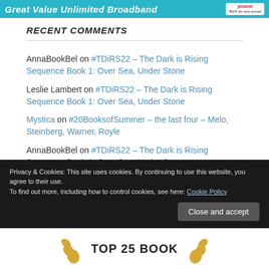[Figure (other): Cyan/teal banner with white italic bold text 'Great Value Unlimited Broadband' and a small white logo box with red text on the right]
RECENT COMMENTS
AnnaBookBel on #TDiRS22 – The Dark is Rising Sequence Book 1: Over Sea, Under Stone
Leslie Lambert on #TDiRS22 – The Dark is Rising Sequence Book 1: Over Sea, Under Stone
Mystica on #20BooksofSummer – the last four – Melo, Steinberg, Warner, Royle
AnnaBookBel on #TDiRS22 – The Dark is Rising Sequence Book 1: Over Sea, Under Stone
AnnaBookBel on #TDiRS22 – The Dark is Rising Sequence Book 1: Over Sea, Under Stone
Privacy & Cookies: This site uses cookies. By continuing to use this website, you agree to their use. To find out more, including how to control cookies, see here: Cookie Policy
[Figure (other): Bottom banner with golden laurel leaves on each side and 'TOP 25 BOOK' text in the center]